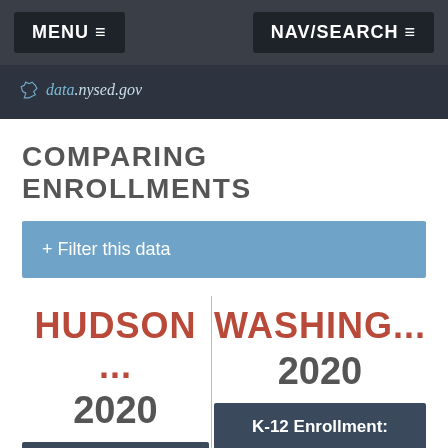MENU ≡    NAV/SEARCH ≡
[Figure (logo): data.nysed.gov logo with New York State outline icon]
COMPARING ENROLLMENTS
+ Filter this data
HUDSON ...
2020
K-12 Enrollment: 698
WASHING...
2020
K-12 Enrollment: